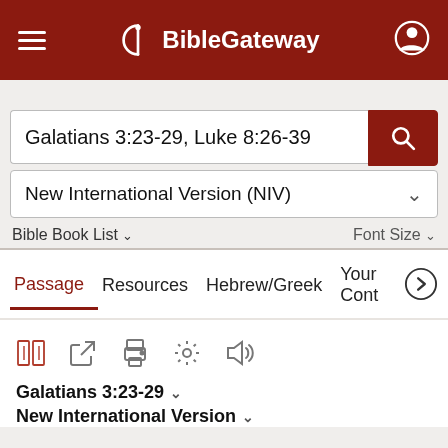BibleGateway
Galatians 3:23-29, Luke 8:26-39
New International Version (NIV)
Bible Book List ∨   Font Size ∨
Passage   Resources   Hebrew/Greek   Your Cont >
Galatians 3:23-29 ∨
New International Version ∨